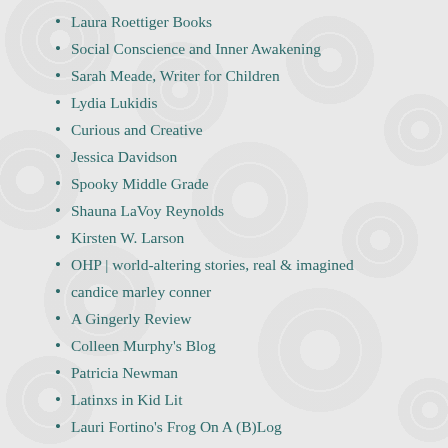Laura Roettiger Books
Social Conscience and Inner Awakening
Sarah Meade, Writer for Children
Lydia Lukidis
Curious and Creative
Jessica Davidson
Spooky Middle Grade
Shauna LaVoy Reynolds
Kirsten W. Larson
OHP | world-altering stories, real & imagined
candice marley conner
A Gingerly Review
Colleen Murphy's Blog
Patricia Newman
Latinxs in Kid Lit
Lauri Fortino's Frog On A (B)Log
valerie r lawson
The Picture Book Review